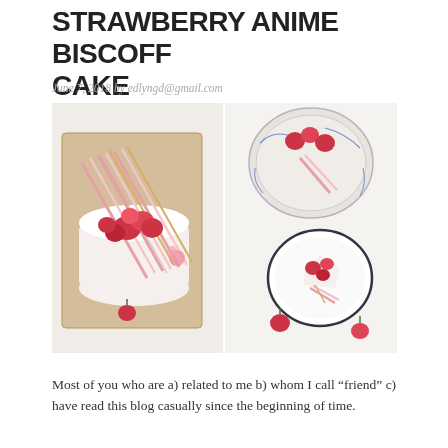STRAWBERRY ANIME BISCOFF CAKE
June 7, 2018 by edlyngd@gmail.com
[Figure (photo): Two side-by-side food photos: left shows a strawberry cake topped with candy sticks on a wooden board, right shows a slice of cake with strawberries on a decorative plate and a bowl.]
Most of you who are a) related to me b) whom I call “friend” c) have read this blog casually since the beginning of time.